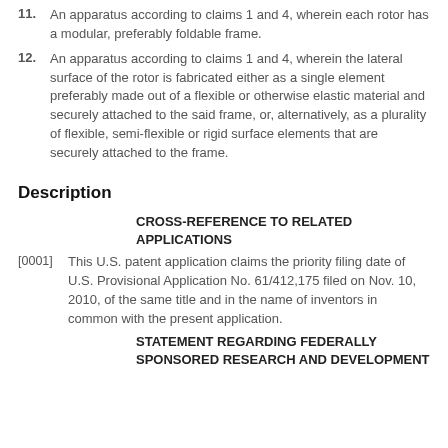11. An apparatus according to claims 1 and 4, wherein each rotor has a modular, preferably foldable frame.
12. An apparatus according to claims 1 and 4, wherein the lateral surface of the rotor is fabricated either as a single element preferably made out of a flexible or otherwise elastic material and securely attached to the said frame, or, alternatively, as a plurality of flexible, semi-flexible or rigid surface elements that are securely attached to the frame.
Description
CROSS-REFERENCE TO RELATED APPLICATIONS
[0001] This U.S. patent application claims the priority filing date of U.S. Provisional Application No. 61/412,175 filed on Nov. 10, 2010, of the same title and in the name of inventors in common with the present application.
STATEMENT REGARDING FEDERALLY SPONSORED RESEARCH AND DEVELOPMENT